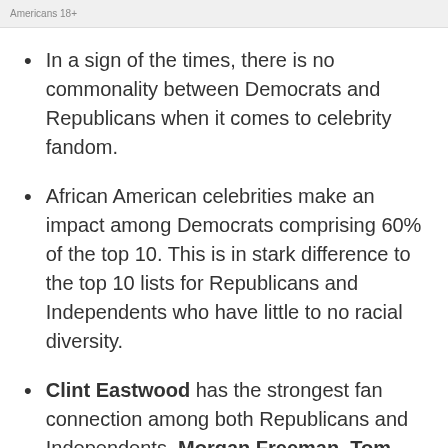Americans 18+
In a sign of the times, there is no commonality between Democrats and Republicans when it comes to celebrity fandom.
African American celebrities make an impact among Democrats comprising 60% of the top 10. This is in stark difference to the top 10 lists for Republicans and Independents who have little to no racial diversity.
Clint Eastwood has the strongest fan connection among both Republicans and Independents. Morgan Freeman, Tom Hanks...